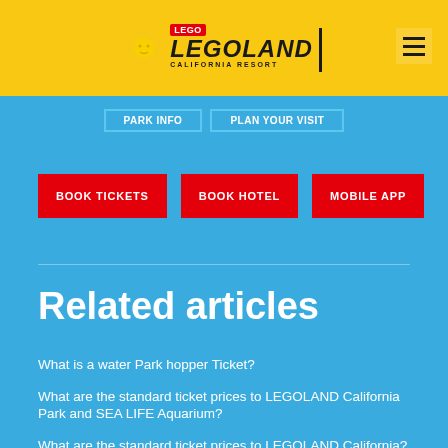[Figure (logo): LEGOLAND California Resort logo with sun icon on yellow header bar]
[Figure (other): Hamburger menu icon (three horizontal lines) on yellow header]
[Figure (other): Two outlined navigation buttons in blue strip below header]
BOOK TICKETS
BOOK HOTEL
MOBILE APP
Related articles
What is a water Park hopper Ticket?
What are the standard ticket prices to LEGOLAND California Park and SEA LIFE Aquarium?
What are the standard ticket prices to LEGOLAND California?